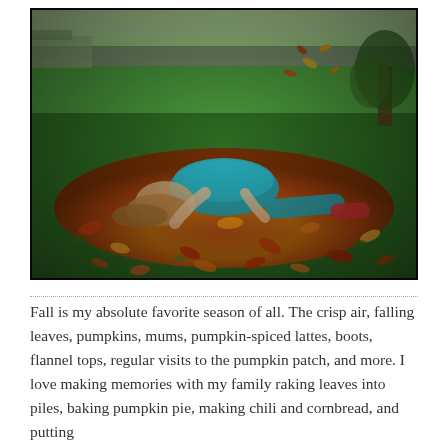[Figure (photo): A child lying on their back on green grass covered with colorful autumn leaves in a park, wearing a teal/turquoise top. Leaves are falling around them. Trees and a road visible in the background under bright sunlight.]
Fall is my absolute favorite season of all. The crisp air, falling leaves, pumpkins, mums, pumpkin-spiced lattes, boots, flannel tops, regular visits to the pumpkin patch, and more. I love making memories with my family raking leaves into piles, baking pumpkin pie, making chili and cornbread, and putting